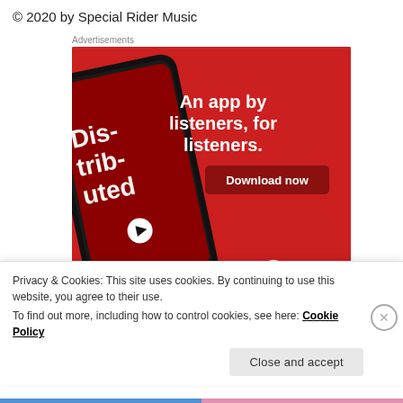© 2020 by Special Rider Music
Advertisements
[Figure (photo): Pocket Casts app advertisement on red background showing a smartphone with podcast app UI displaying 'Distributed' podcast. Text reads 'An app by listeners, for listeners.' with a 'Download now' button and Pocket Casts logo at bottom.]
Privacy & Cookies: This site uses cookies. By continuing to use this website, you agree to their use.
To find out more, including how to control cookies, see here: Cookie Policy
Close and accept